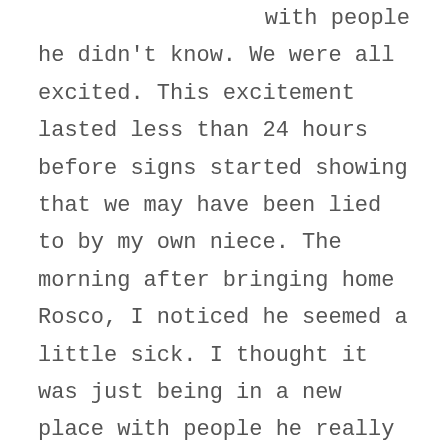with people he didn't know. We were all excited. This excitement lasted less than 24 hours before signs started showing that we may have been lied to by my own niece. The morning after bringing home Rosco, I noticed he seemed a little sick. I thought it was just being in a new place with people he really didn't know. I took him out to the bathroom and I freaked out when he took a number two. I have never seen worms before but I knew what they were when they exploded out his end! I was not expecting this and called the vet on the spot. We already had an appointment to have him checked out but I